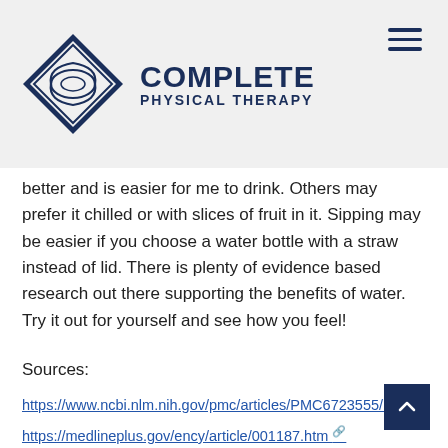[Figure (logo): Complete Physical Therapy logo with diamond-shaped emblem and text]
better and is easier for me to drink. Others may prefer it chilled or with slices of fruit in it. Sipping may be easier if you choose a water bottle with a straw instead of lid. There is plenty of evidence based research out there supporting the benefits of water. Try it out for yourself and see how you feel!
Sources:
https://www.ncbi.nlm.nih.gov/pmc/articles/PMC6723555/
https://medlineplus.gov/ency/article/001187.htm
https://hub.jhu.edu/at-work/2020/01/15/focus-on-wellness-drinking-more-water/